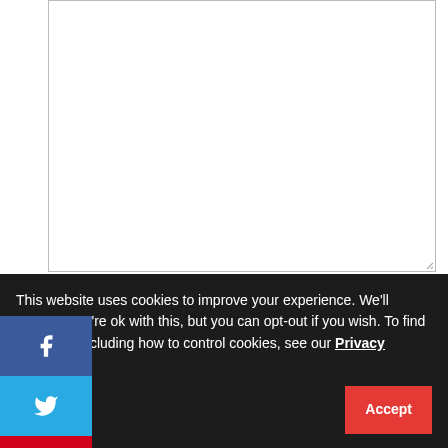[Figure (screenshot): Comment form with textarea at top, name/email/website input fields, social share sidebar with Facebook, Twitter, Pinterest buttons showing 23 SHARES, and a cookie consent banner at the bottom]
me *
ail *
Website
23
SHARES
This website uses cookies to improve your experience. We'll assume you're ok with this, but you can opt-out if you wish. To find out more, including how to control cookies, see our Privacy Policy.
Accept